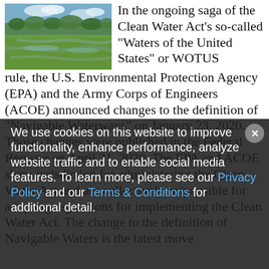[Figure (photo): Aerial/ground-level photo of a wetland or marsh area with green grasses, shallow water channels, and trees/forest in the background under a partly cloudy sky.]
In the ongoing saga of the Clean Water Act's so-called "Waters of the United States" or WOTUS rule, the U.S. Environmental Protection Agency (EPA) and the Army Corps of Engineers (ACOE) announced changes to the definition of "Navigable Waterways" on January 23, 2020. Those changes were published in the Federal Register on April 21, 2020. The EPA and ACOE share jurisdiction for administering the Clean Water Act and are collectively responsible for adopting regulations for implementing the Clean Water Act. The change to the definition of Navigable Waters is the latest move
We use cookies on this website to improve functionality, enhance performance, analyze website traffic and to enable social media features. To learn more, please see our Privacy Policy and our Terms & Conditions for additional detail.